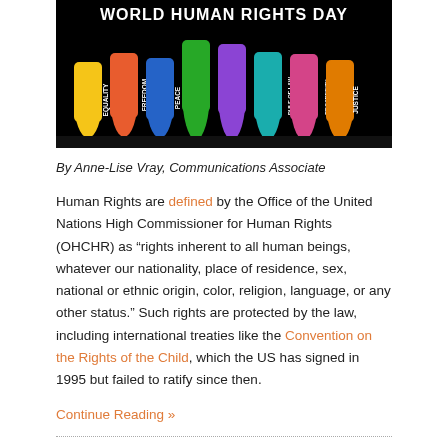[Figure (illustration): World Human Rights Day banner image with colorful hands raised, each labeled with words like Equality, Freedom, Peace, Hope, Dignity, Rule of Law, Prosperity, Justice on a black background.]
By Anne-Lise Vray, Communications Associate
Human Rights are defined by the Office of the United Nations High Commissioner for Human Rights (OHCHR) as “rights inherent to all human beings, whatever our nationality, place of residence, sex, national or ethnic origin, color, religion, language, or any other status.” Such rights are protected by the law, including international treaties like the Convention on the Rights of the Child, which the US has signed in 1995 but failed to ratify since then.
Continue Reading »
Ten Years After the C4YJ Launches, We Are Not Done